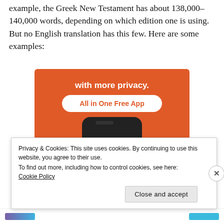example, the Greek New Testament has about 138,000–140,000 words, depending on which edition one is using. But no English translation has this few. Here are some examples:
[Figure (illustration): DuckDuckGo advertisement banner on orange background showing 'with more privacy. All in One Free App' with a smartphone displaying the DuckDuckGo duck logo.]
Privacy & Cookies: This site uses cookies. By continuing to use this website, you agree to their use. To find out more, including how to control cookies, see here: Cookie Policy
Close and accept